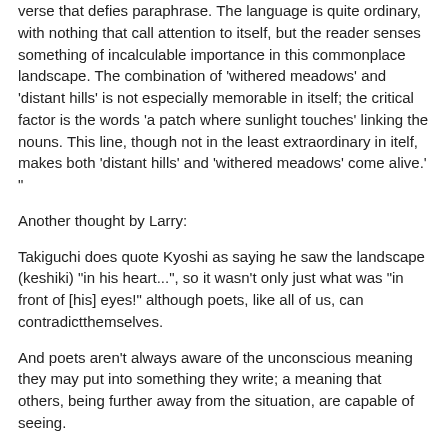verse that defies paraphrase. The language is quite ordinary, with nothing that call attention to itself, but the reader senses something of incalculable importance in this commonplace landscape. The combination of 'withered meadows' and 'distant hills' is not especially memorable in itself; the critical factor is the words 'a patch where sunlight touches' linking the nouns. This line, though not in the least extraordinary in itelf, makes both 'distant hills' and 'withered meadows' come alive.' "
Another thought by Larry:
Takiguchi does quote Kyoshi as saying he saw the landscape (keshiki) "in his heart...", so it wasn't only just what was "in front of [his] eyes!" although poets, like all of us, can contradictthemselves.
And poets aren't always aware of the unconscious meaning they may put into something they write; a meaning that others, being further away from the situation, are capable of seeing.